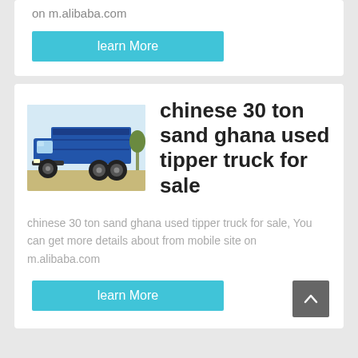on m.alibaba.com
learn More
[Figure (photo): Blue Chinese dump/tipper truck parked on dirt ground]
chinese 30 ton sand ghana used tipper truck for sale
chinese 30 ton sand ghana used tipper truck for sale, You can get more details about from mobile site on m.alibaba.com
learn More